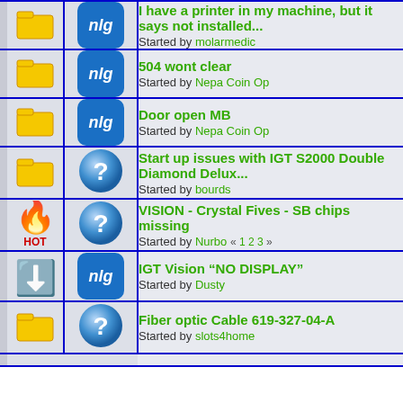I have a printer in my machine, but it says not installed... Started by molarmedic
504 wont clear - Started by Nepa Coin Op
Door open MB - Started by Nepa Coin Op
Start up issues with IGT S2000 Double Diamond Delux... - Started by bourds
VISION - Crystal Fives - SB chips missing - Started by Nurbo « 1 2 3 »
IGT Vision "NO DISPLAY" - Started by Dusty
Fiber optic Cable 619-327-04-A - Started by slots4home